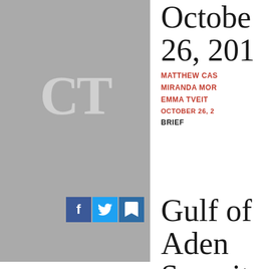[Figure (logo): Gray placeholder image with CT logo watermark]
October 26, 201
MATTHEW CAS
MIRANDA MOR
EMMA TVEIT
OCTOBER 26, 2
BRIEF
[Figure (screenshot): Gray placeholder image with Facebook, Twitter, and bookmark social sharing icons overlay]
Gulf of Aden Security Review